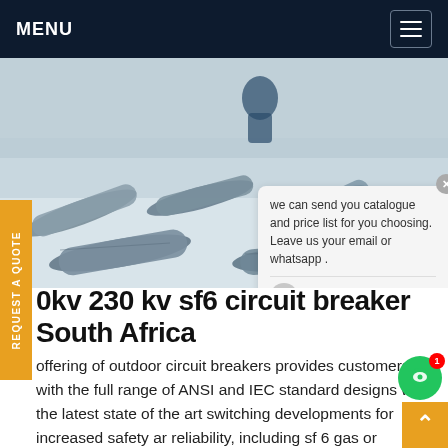MENU
[Figure (photo): Outdoor SF6 circuit breaker cylinders laid out on snow, with a worker visible in the background. A chat popup overlay is visible on the right side showing a message about catalogue and price list.]
0kv 230 kv sf6 circuit breaker South Africa
offering of outdoor circuit breakers provides customers with the full range of ANSI and IEC standard designs with the latest state of the art switching developments for increased safety and reliability, including sf 6 gas or vacuum interruption